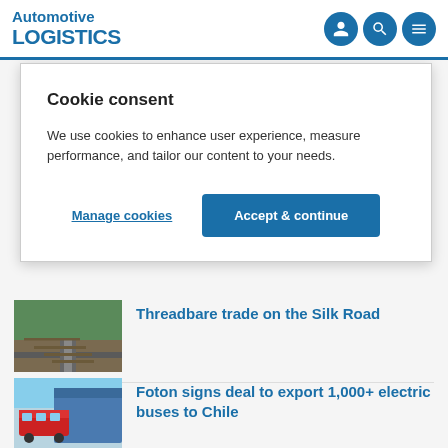Automotive LOGISTICS
Cookie consent
We use cookies to enhance user experience, measure performance, and tailor our content to your needs.
Manage cookies
Accept & continue
Threadbare trade on the Silk Road
[Figure (photo): Railroad tracks leading into the distance through green hills]
Foton signs deal to export 1,000+ electric buses to Chile
[Figure (photo): Red electric bus being loaded onto a vehicle carrier ship]